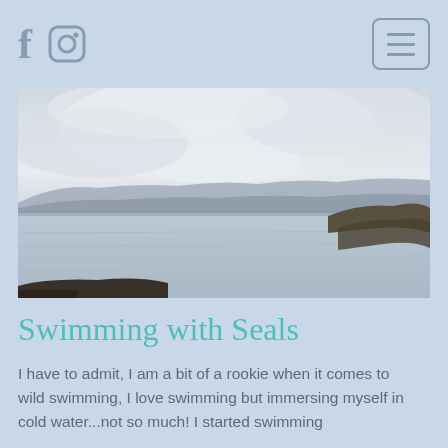f [Facebook icon] [Instagram icon] [Hamburger menu button]
[Figure (photo): Coastal seascape photo showing calm water with rocks, distant hills and cloudy sky]
Swimming with Seals
I have to admit, I am a bit of a rookie when it comes to wild swimming, I love swimming but immersing myself in cold water...not so much! I started swimming